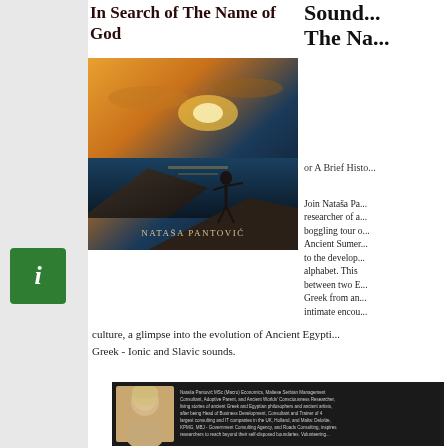In Search of The Name of God
Sound... The Na...
[Figure (photo): Book cover of 'In Search of The Name of God' by Nataša Pantović, showing a person standing on rocks by the sea at sunset with dramatic sky]
or A Brief Histo...
Join Nataša Pa... researcher of a... boggling tour o... Ancient Sumer... to the develop... alphabet. This... between two E... Greek from an... intimate encou...
culture, a glimpse into the evolution of Ancient Egypti... Greek - Ionic and Slavic sounds.
[Figure (photo): Dark background image with author photo (blonde woman) on the left and biographical text about Nataša Pantović MSc on the right]